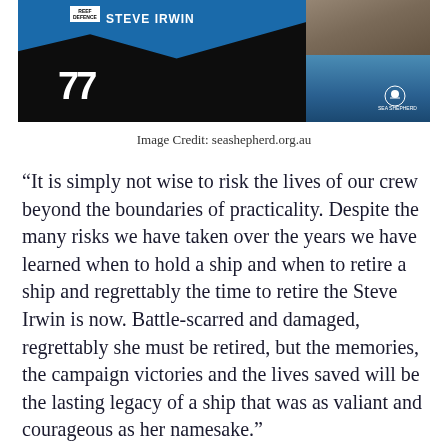[Figure (photo): Photo of the Sea Shepherd vessel Steve Irwin (number 77) with 'Reef Defence' and 'Steve Irwin' markings on its hull. The ship is black and blue, photographed near rocky coastline with blue ocean water. Sea Shepherd skull logo visible in bottom right corner.]
Image Credit: seashepherd.org.au
“It is simply not wise to risk the lives of our crew beyond the boundaries of practicality. Despite the many risks we have taken over the years we have learned when to hold a ship and when to retire a ship and regrettably the time to retire the Steve Irwin is now. Battle-scarred and damaged, regrettably she must be retired, but the memories, the campaign victories and the lives saved will be the lasting legacy of a ship that was as valiant and courageous as her namesake.”